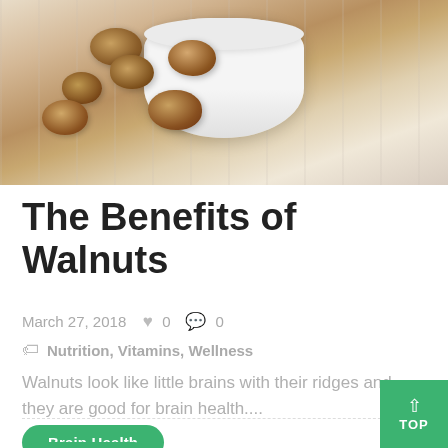[Figure (photo): Walnuts in a white bowl on a light wooden surface, with walnut pieces scattered around]
The Benefits of Walnuts
March 27, 2018  ♥ 0  💬 0
🏷 Nutrition, Vitamins, Wellness
Walnuts look like little brains with their ridges and they are good for brain health....
Brain Health
Gut Health